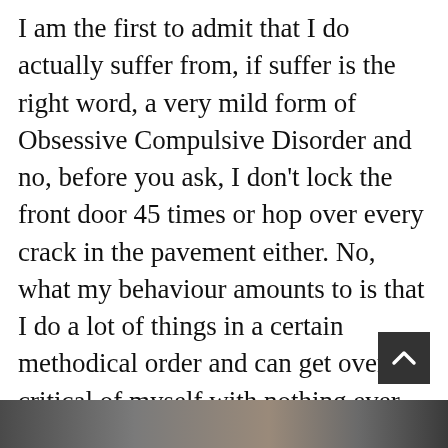I am the first to admit that I do actually suffer from, if suffer is the right word, a very mild form of Obsessive Compulsive Disorder and no, before you ask, I don't lock the front door 45 times or hop over every crack in the pavement either. No, what my behaviour amounts to is that I do a lot of things in a certain methodical order and can get over critical of myself with nothing ever seeming right or good enough. My family and close friends simply view it as me being fussy and eccentric.
[Figure (photo): A photo strip at the bottom of the page showing partial images]